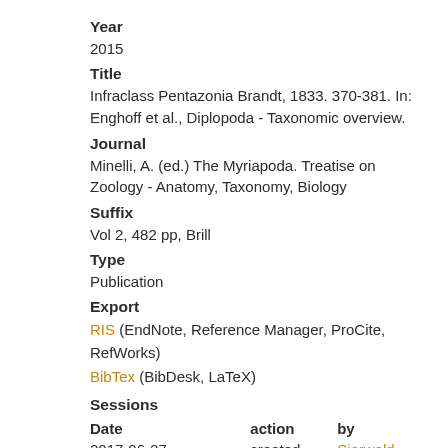Year
2015
Title
Infraclass Pentazonia Brandt, 1833. 370-381. In: Enghoff et al., Diplopoda - Taxonomic overview.
Journal
Minelli, A. (ed.) The Myriapoda. Treatise on Zoology - Anatomy, Taxonomy, Biology
Suffix
Vol 2, 482 pp, Brill
Type
Publication
Export
RIS (EndNote, Reference Manager, ProCite, RefWorks)
BibTex (BibDesk, LaTeX)
Sessions
| Date | action | by |
| --- | --- | --- |
| 2017-06-27 | created | Sierwald, |